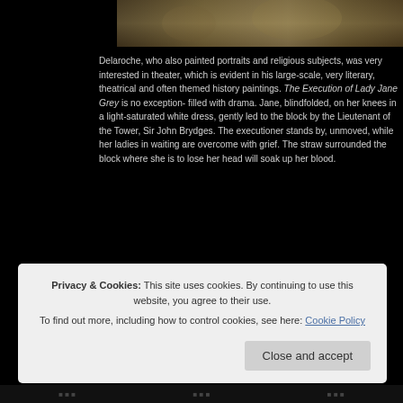[Figure (photo): Top strip of a painting showing dark tones with warm ochre and brown hues, likely the upper portion of a historical painting.]
Delaroche, who also painted portraits and religious subjects, was very interested in theater, which is evident in his large-scale, very literary, theatrical and often themed history paintings. The Execution of Lady Jane Grey is no exception- filled with drama. Jane, blindfolded, on her knees in a light-saturated white dress, gently led to the block by the Lieutenant of the Tower, Sir John Brydges. The executioner stands by, unmoved, while her ladies in waiting are overcome with grief. The straw surrounded the block where she is to lose her head will soak up her blood.
[Figure (photo): Painting of Lady Jane Grey blindfolded in a white dress, being led to the execution block. She has long red-brown hair and her hands are outstretched.]
Privacy & Cookies: This site uses cookies. By continuing to use this website, you agree to their use.
To find out more, including how to control cookies, see here: Cookie Policy
Close and accept